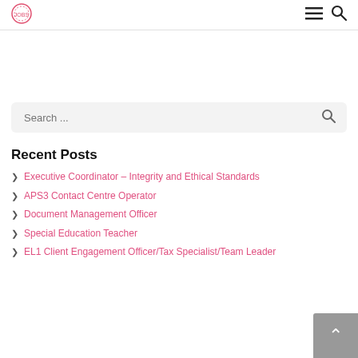[logo] [hamburger menu] [search icon]
Search ...
Recent Posts
Executive Coordinator – Integrity and Ethical Standards
APS3 Contact Centre Operator
Document Management Officer
Special Education Teacher
EL1 Client Engagement Officer/Tax Specialist/Team Leader